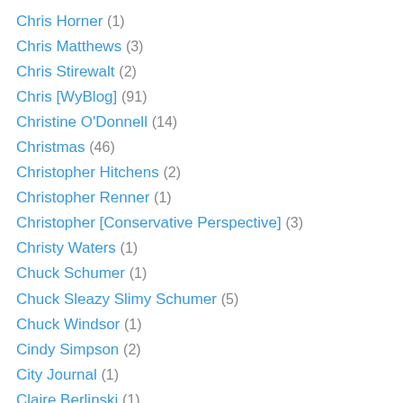Chris Horner (1)
Chris Matthews (3)
Chris Stirewalt (2)
Chris [WyBlog] (91)
Christine O'Donnell (14)
Christmas (46)
Christopher Hitchens (2)
Christopher Renner (1)
Christopher [Conservative Perspective] (3)
Christy Waters (1)
Chuck Schumer (1)
Chuck Sleazy Slimy Schumer (5)
Chuck Windsor (1)
Cindy Simpson (2)
City Journal (1)
Claire Berlinski (1)
Clarence Thomas (5)
Clarity (1)
Class Acts (1)
Cleaning Out The Cache (8)